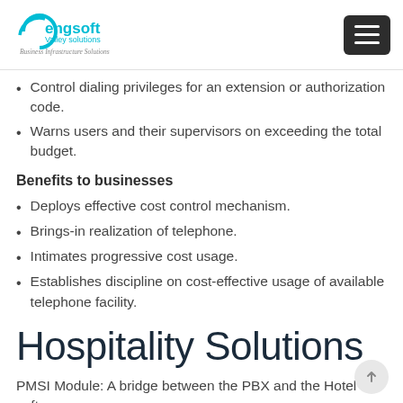engsoft Valley solutions — Business Infrastructure Solutions
Control dialing privileges for an extension or authorization code.
Warns users and their supervisors on exceeding the total budget.
Benefits to businesses
Deploys effective cost control mechanism.
Brings-in realization of telephone.
Intimates progressive cost usage.
Establishes discipline on cost-effective usage of available telephone facility.
Hospitality Solutions
PMSI Module: A bridge between the PBX and the Hotel software.